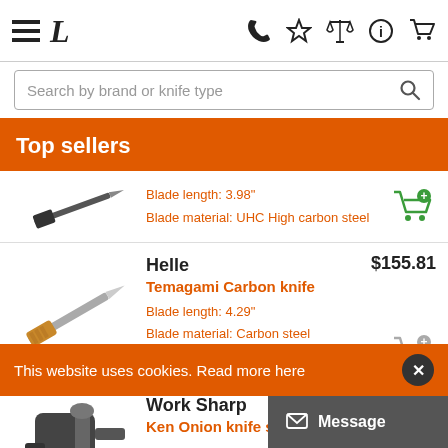Navigation bar with menu, logo L, phone, star, scale, info, cart icons
Search by brand or knife type
Top sellers
Blade length: 3.98"
Blade material: UHC High carbon steel
Helle
Temagami Carbon knife
$155.81
Blade length: 4.29"
Blade material: Carbon steel
Work Sharp
Ken Onion knife sharpener
$156.65
This website uses cookies. Read more here